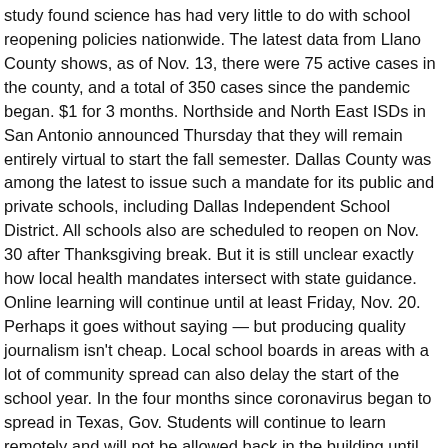study found science has had very little to do with school reopening policies nationwide. The latest data from Llano County shows, as of Nov. 13, there were 75 active cases in the county, and a total of 350 cases since the pandemic began. $1 for 3 months. Northside and North East ISDs in San Antonio announced Thursday that they will remain entirely virtual to start the fall semester. Dallas County was among the latest to issue such a mandate for its public and private schools, including Dallas Independent School District. All schools also are scheduled to reopen on Nov. 30 after Thanksgiving break. But it is still unclear exactly how local health mandates intersect with state guidance. Online learning will continue until at least Friday, Nov. 20. Perhaps it goes without saying — but producing quality journalism isn't cheap. Local school boards in areas with a lot of community spread can also delay the start of the school year. In the four months since coronavirus began to spread in Texas, Gov. Students will continue to learn remotely and will not be allowed back in the building until Dec. 1. Gov. School districts will be allowed to delay on-campus instruction for at least four weeks and ask for waivers to continue remote instruction for up to four additional weeks in areas hard hit by the coronavirus pandemic. Bluebonnet Trail ElementaryThis school is closed due to COVID. AUSTIN, Texas — Austin-Travis County's dashboard shows that more than 4,300